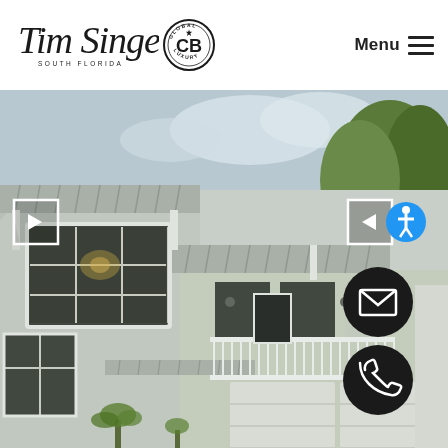[Figure (logo): Tim Singer South Florida script logo with Coldwell Banker Global Luxury circular badge]
Menu ≡
[Figure (photo): Two-story modern coastal luxury home with white exterior, metal roof, grid-pane windows, covered porch with white railings, and double garage doors. Green trees visible in background.]